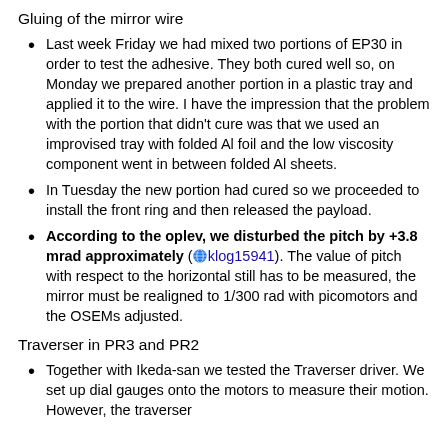Gluing of the mirror wire
Last week Friday we had mixed two portions of EP30 in order to test the adhesive. They both cured well so, on Monday we prepared another portion in a plastic tray and applied it to the wire. I have the impression that the problem with the portion that didn't cure was that we used an improvised tray with folded Al foil and the low viscosity component went in between folded Al sheets.
In Tuesday the new portion had cured so we proceeded to install the front ring and then released the payload.
According to the oplev, we disturbed the pitch by +3.8 mrad approximately (klog15941). The value of pitch with respect to the horizontal still has to be measured, the mirror must be realigned to 1/300 rad with picomotors and the OSEMs adjusted.
Traverser in PR3 and PR2
Together with Ikeda-san we tested the Traverser driver. We set up dial gauges onto the motors to measure their motion. However, the traverser driver didn't work. It is a 1500 cycle type...